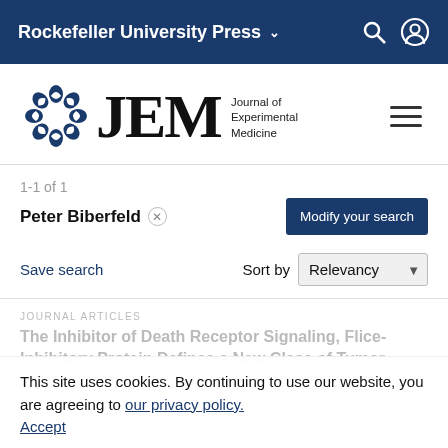Rockefeller University Press
[Figure (logo): JEM Journal of Experimental Medicine logo with circular blue emblem]
1-1 of 1
Peter Biberfeld ×
Modify your search
Save search
Sort by Relevancy
JOURNAL ARTICLES
The Inhibitor of Death Receptor Signaling, Flice-Inhibitory Protein Defines a New Class of Tumor Progression Factors
This site uses cookies. By continuing to use our website, you are agreeing to our privacy policy. Accept